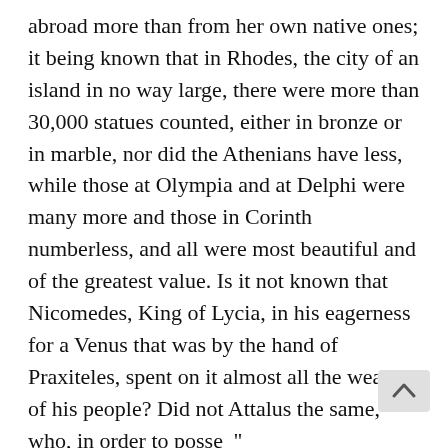abroad more than from her own native ones; it being known that in Rhodes, the city of an island in no way large, there were more than 30,000 statues counted, either in bronze or in marble, nor did the Athenians have less, while those at Olympia and at Delphi were many more and those in Corinth numberless, and all were most beautiful and of the greatest value. Is it not known that Nicomedes, King of Lycia, in his eagerness for a Venus that was by the hand of Praxiteles, spent on it almost all the wealth of his people? Did not Attalus the same, who, in order to posse'' picture of Bacchus painted by Aristides, did scruple to spend on it more than 6,000 sesterces? Which picture was placed by Lucius Mummius in the temple of Ceres with the greatest pomp, in order to adorn Rome.

But for all that the nobility of these arts was so